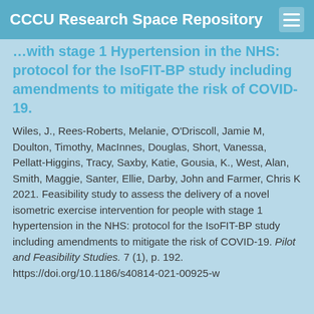CCCU Research Space Repository
...with stage 1 Hypertension in the NHS: protocol for the IsoFIT-BP study including amendments to mitigate the risk of COVID-19.
Wiles, J., Rees-Roberts, Melanie, O'Driscoll, Jamie M, Doulton, Timothy, MacInnes, Douglas, Short, Vanessa, Pellatt-Higgins, Tracy, Saxby, Katie, Gousia, K., West, Alan, Smith, Maggie, Santer, Ellie, Darby, John and Farmer, Chris K 2021. Feasibility study to assess the delivery of a novel isometric exercise intervention for people with stage 1 hypertension in the NHS: protocol for the IsoFIT-BP study including amendments to mitigate the risk of COVID-19. Pilot and Feasibility Studies. 7 (1), p. 192. https://doi.org/10.1186/s40814-021-00925-w